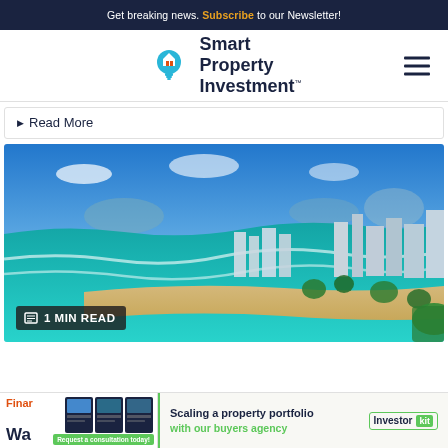Get breaking news. Subscribe to our Newsletter!
[Figure (logo): Smart Property Investment logo with lightbulb icon and hamburger menu]
Read More
[Figure (photo): Aerial coastal photo of an Australian beachside city with turquoise water, sandy beach, and urban suburb. Badge reads: 1 MIN READ]
Finar
Wa
Scaling a property portfolio with our buyers agency
Investor Kit
Request a consultation today!